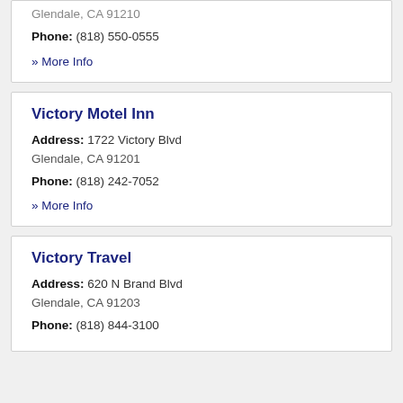Glendale, CA 91210
Phone: (818) 550-0555
» More Info
Victory Motel Inn
Address: 1722 Victory Blvd
Glendale, CA 91201
Phone: (818) 242-7052
» More Info
Victory Travel
Address: 620 N Brand Blvd
Glendale, CA 91203
Phone: (818) 844-3100